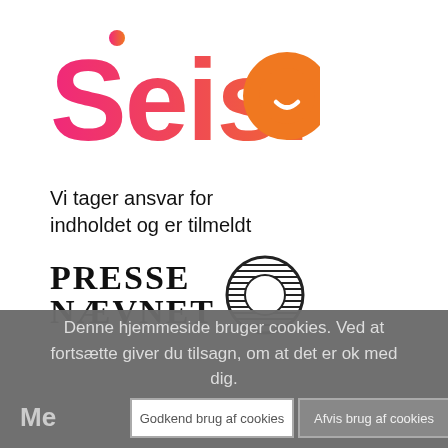[Figure (logo): Seismo logo with gradient text from pink to orange, featuring a smiley face embedded in the letter 'o']
Vi tager ansvar for indholdet og er tilmeldt
[Figure (logo): Pressenævnet logo with bold serif text 'PRESSE NÆVNET' and a circular striped emblem]
Denne hjemmeside bruger cookies. Ved at fortsætte giver du tilsagn, om at det er ok med dig.
Godkend brug af cookies
Afvis brug af cookies